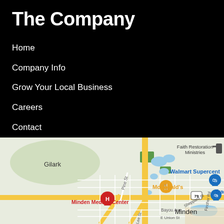The Company
Home
Company Info
Grow Your Local Business
Careers
Contact
[Figure (map): Google Maps view of Minden, Louisiana area showing Gilark, Faith Restoration Ministries, Walmart Supercenter, McDonald's, Minden Medical Center, and surrounding streets including Pine St, Bayou Ave, Sheppard St, Fincher Rd, Lee St, E Union St, and highway 79.]